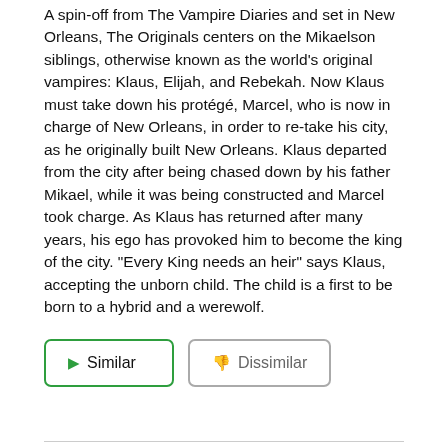A spin-off from The Vampire Diaries and set in New Orleans, The Originals centers on the Mikaelson siblings, otherwise known as the world's original vampires: Klaus, Elijah, and Rebekah. Now Klaus must take down his protégé, Marcel, who is now in charge of New Orleans, in order to re-take his city, as he originally built New Orleans. Klaus departed from the city after being chased down by his father Mikael, while it was being constructed and Marcel took charge. As Klaus has returned after many years, his ego has provoked him to become the king of the city. "Every King needs an heir" says Klaus, accepting the unborn child. The child is a first to be born to a hybrid and a werewolf.
Similar
Dissimilar